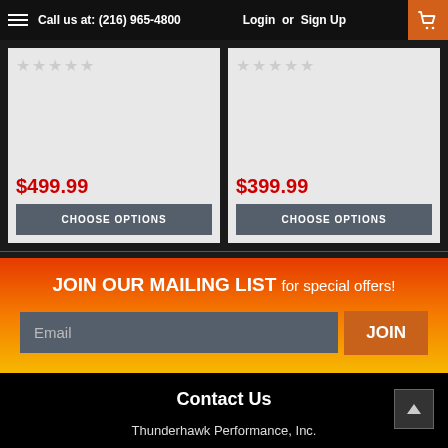Call us at: (216) 965-4800   Login or Sign Up
$499.99
CHOOSE OPTIONS
$399.99
CHOOSE OPTIONS
JOIN OUR MAILING LIST for special offers!
Email
JOIN
Contact Us
Thunderhawk Performance, Inc.
4456 North Abbe Rd., #138
Sheffield Village, OH 44054